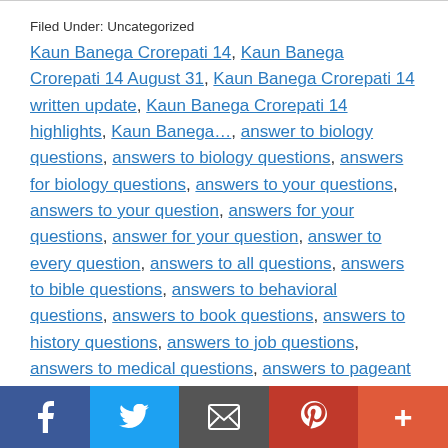Filed Under: Uncategorized
Kaun Banega Crorepati 14, Kaun Banega Crorepati 14 August 31, Kaun Banega Crorepati 14 written update, Kaun Banega Crorepati 14 highlights, Kaun Banega..., answer to biology questions, answers to biology questions, answers for biology questions, answers to your questions, answers to your question, answers for your questions, answer for your question, answer to every question, answers to all questions, answers to bible questions, answers to behavioral questions, answers to book questions, answers to history questions, answers to job questions, answers to medical questions, answers to pageant questions, questions and answers to interview questions, 14.3 runoff research questions answers, and other truncated links